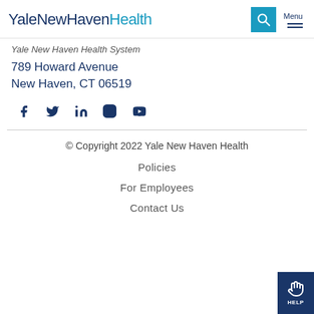YaleNewHavenHealth
Yale New Haven Health System
789 Howard Avenue
New Haven, CT 06519
[Figure (other): Social media icons: Facebook, Twitter, LinkedIn, Instagram, YouTube]
© Copyright 2022 Yale New Haven Health
Policies
For Employees
Contact Us
[Figure (other): Help button with hand/pointer icon and HELP label]